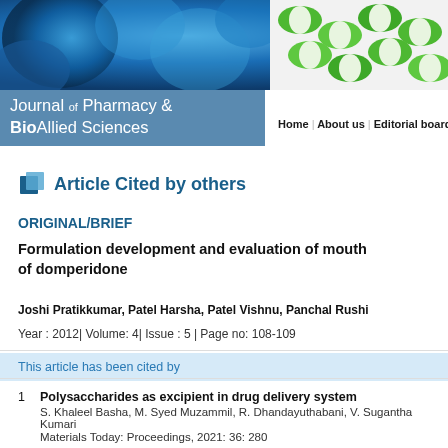[Figure (photo): Journal header with blue cell microscopy image on left and green/white capsules on right]
Journal of Pharmacy & BioAllied Sciences
Home | About us | Editorial board
Article Cited by others
ORIGINAL/BRIEF
Formulation development and evaluation of mouthof domperidone
Joshi Pratikkumar, Patel Harsha, Patel Vishnu, Panchal Rushi
Year : 2012| Volume: 4| Issue : 5 | Page no: 108-109
This article has been cited by
1  Polysaccharides as excipient in drug delivery system
S. Khaleel Basha, M. Syed Muzammil, R. Dhandayuthabani, V. Sugantha Kumari
Materials Today: Proceedings, 2021: 36: 280